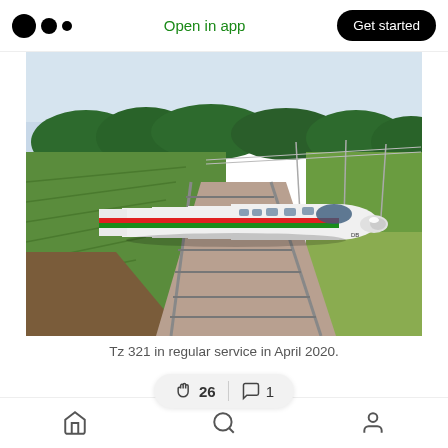Medium logo | Open in app | Get started
[Figure (photo): Aerial view of a white ICE high-speed train with red and green stripe traveling through green countryside on a sunny day. Train labeled Tz 321 in regular service in April 2020.]
Tz 321 in regular service in April 2020.
At the time of th… …still by December
Home | Search | Profile